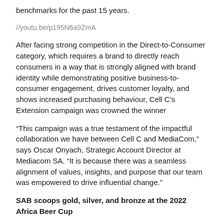benchmarks for the past 15 years.
//youtu.be/p195N6a9ZmA
After facing strong competition in the Direct-to-Consumer category, which requires a brand to directly reach consumers in a way that is strongly aligned with brand identity while demonstrating positive business-to-consumer engagement, drives customer loyalty, and shows increased purchasing behaviour, Cell C’s Extension campaign was crowned the winner
“This campaign was a true testament of the impactful collaboration we have between Cell C and MediaCom,” says Oscar Onyach, Strategic Account Director at Mediacom SA. “It is because there was a seamless alignment of values, insights, and purpose that our team was empowered to drive influential change.”
SAB scoops gold, silver, and bronze at the 2022 Africa Beer Cup